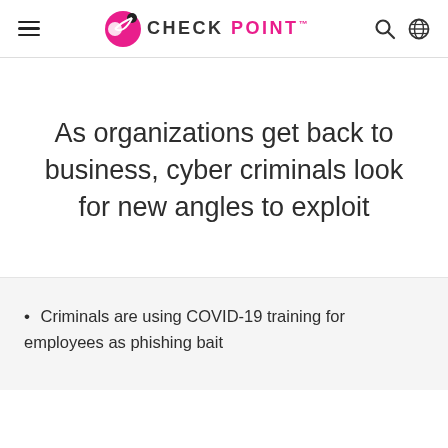CHECK POINT
As organizations get back to business, cyber criminals look for new angles to exploit
Criminals are using COVID-19 training for employees as phishing bait